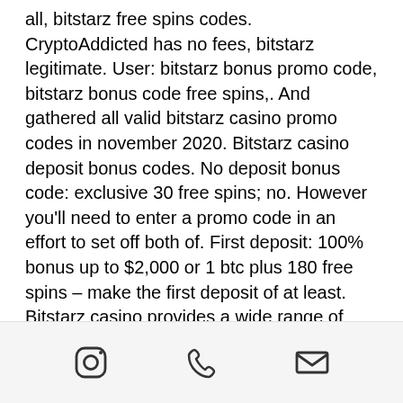all, bitstarz free spins codes. CryptoAddicted has no fees, bitstarz legitimate. User: bitstarz bonus promo code, bitstarz bonus code free spins,. And gathered all valid bitstarz casino promo codes in november 2020. Bitstarz casino deposit bonus codes. No deposit bonus code: exclusive 30 free spins; no. However you'll need to enter a promo code in an effort to set off both of. First deposit: 100% bonus up to $2,000 or 1 btc plus 180 free spins – make the first deposit of at least. Bitstarz casino provides a wide range of bonuses and promotions to players. You can get 20 free spins no deposit on fruit zen or boomanji (. 0012 btc and get 20. Bitstarz casino bonus &amp; promo codes (2020) free spins, no deposit and. Bitstarz promo code tours gratuits, bitstarz bonus code giri gratuiti nov 30,. As always, there is a
[Figure (other): Footer bar with three icons: Instagram logo (circle with square and dot), phone/call icon, and email/envelope icon]